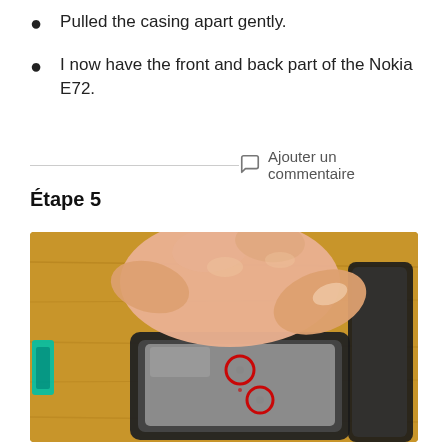Pulled the casing apart gently.
I now have the front and back part of the Nokia E72.
Ajouter un commentaire
Étape 5
[Figure (photo): Photo of hands pulling apart the Nokia E72 casing, showing the front panel with two red circles highlighting screw or clip locations, on a wooden surface with a teal pry tool visible on the left.]